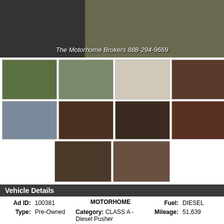[Figure (photo): Top banner showing motorhome exterior with watermark text 'The Motorhome Brokers 888-294-9669']
[Figure (photo): Grid of thumbnail photos showing motorhome exterior and interior views, including floorplan diagram]
Vehicle Details
| Ad ID: | 100381 | MOTORHOME | Fuel: | DIESEL |
| Type: | Pre-Owned | Category: | CLASS A - Diesel Pusher | Mileage: | 51,639 |
| Stock #: | 14EA42 | Make: | Entegra | Length: | 43 |
| Price: | $184,900 | Model: | Aspire 40 RBQ Bath & Half SOLD SOLD SOLD | City: | West Sand Lake |
| Phone: | 888-294-9669 |  |  | State: | NY |
|  |  |  |  | Slide |  |